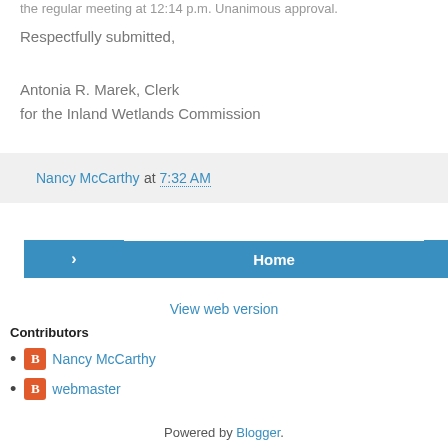the regular meeting at 12:14 p.m. Unanimous approval.
Respectfully submitted,
Antonia R. Marek, Clerk
for the Inland Wetlands Commission
Nancy McCarthy at 7:32 AM
[Figure (screenshot): Navigation bar with left arrow button, Home button, and right arrow button]
View web version
Contributors
Nancy McCarthy
webmaster
Powered by Blogger.